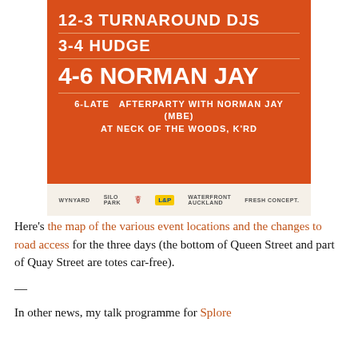[Figure (illustration): Event poster on orange background showing DJ schedule: 12-3 Turnaround DJs, 3-4 Hudge, 4-6 Norman Jay, 6-Late Afterparty with Norman Jay (MBE) at Neck of the Woods K'rd. Sponsor logos: Wynyard, Silo Park, a hazmat symbol, L&P, Waterfront Auckland, Fresh Concept.]
Here's the map of the various event locations and the changes to road access for the three days (the bottom of Queen Street and part of Quay Street are totes car-free).
—
In other news, my talk programme for Splore